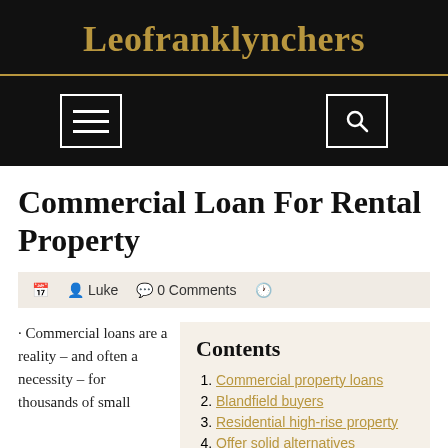Leofranklynchers
Commercial Loan For Rental Property
Luke  0 Comments
· Commercial loans are a reality – and often a necessity – for thousands of small
Contents
1. Commercial property loans
2. Blandfield buyers
3. Residential high-rise property
4. Offer solid alternatives
5. Commercial real estate loans d…